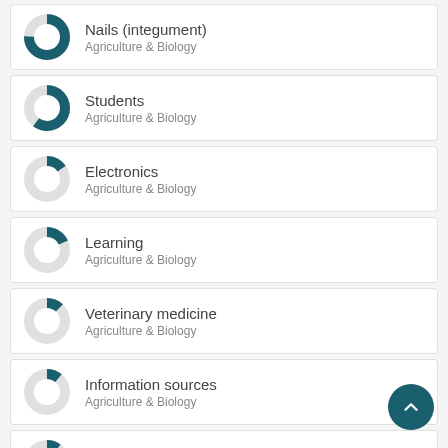Nails (integument) — Agriculture & Biology
Students — Agriculture & Biology
Electronics — Agriculture & Biology
Learning — Agriculture & Biology
Veterinary medicine — Agriculture & Biology
Information sources — Agriculture & Biology
Sales — Agriculture & Biology